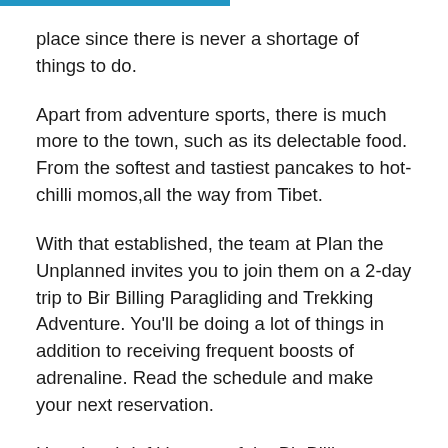place since there is never a shortage of things to do.
Apart from adventure sports, there is much more to the town, such as its delectable food. From the softest and tastiest pancakes to hot-chilli momos,all the way from Tibet.
With that established, the team at Plan the Unplanned invites you to join them on a 2-day trip to Bir Billing Paragliding and Trekking Adventure. You'll be doing a lot of things in addition to receiving frequent boosts of adrenaline. Read the schedule and make your next reservation.
Here is a brief itinerary of the Bir Billing Paragliding and Trekking adventure with Plan the Unplanned: